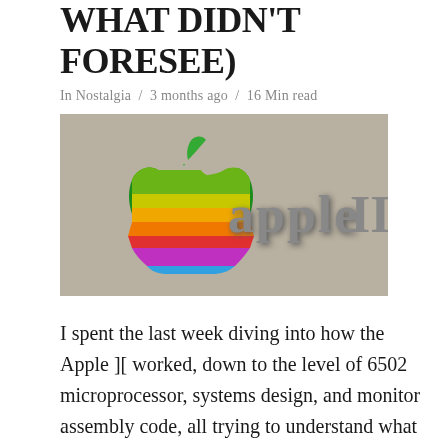WHAT DIDN'T FORESEE)
In Nostalgia  /  3 months ago  /  16 Min read
[Figure (logo): Apple II rainbow logo on a grey/tan background, showing the classic rainbow apple icon and 'apple II' text in metallic grey lettering]
I spent the last week diving into how the Apple ][ worked, down to the level of 6502 microprocessor, systems design, and monitor assembly code, all trying to understand what Steve Wozniak (Woz) was doing differently than the other designers of that era, and what he would have done even different if he had